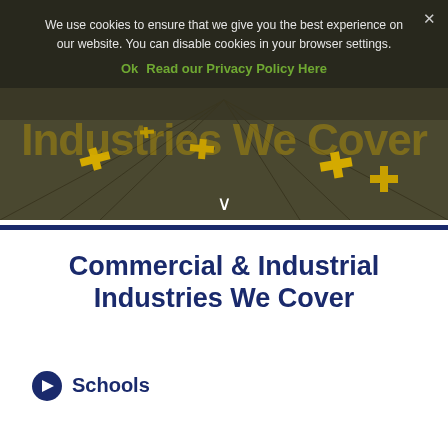[Figure (photo): Warehouse/industrial floor with yellow cross markers on concrete floor, dark background with greenish-yellow cross patterns. Cookie consent overlay is shown on top of the hero image.]
We use cookies to ensure that we give you the best experience on our website. You can disable cookies in your browser settings.
Ok  Read our Privacy Policy Here
Commercial & Industrial Industries We Cover
Schools